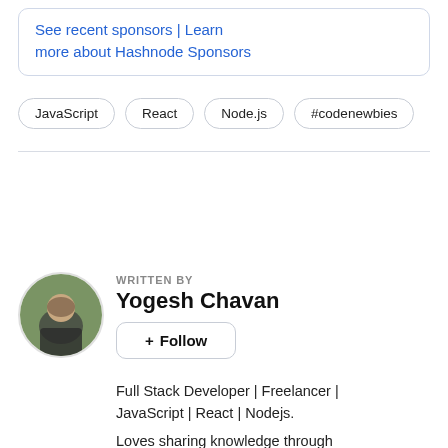See recent sponsors | Learn more about Hashnode Sponsors
JavaScript
React
Node.js
#codenewbies
WRITTEN BY
Yogesh Chavan
+ Follow
Full Stack Developer | Freelancer | JavaScript | React | Nodejs.
Loves sharing knowledge through